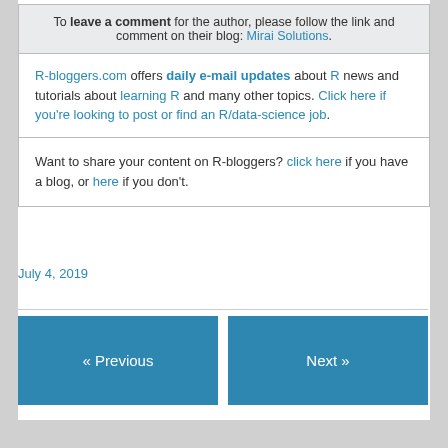To leave a comment for the author, please follow the link and comment on their blog: Mirai Solutions.
R-bloggers.com offers daily e-mail updates about R news and tutorials about learning R and many other topics. Click here if you're looking to post or find an R/data-science job.
Want to share your content on R-bloggers? click here if you have a blog, or here if you don't.
July 4, 2019
« Previous
Next »